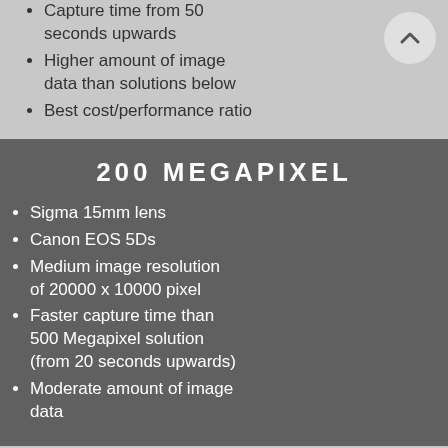Capture time from 50 seconds upwards
Higher amount of image data than solutions below
Best cost/performance ratio
200 MEGAPIXEL
Sigma 15mm lens
Canon EOS 5Ds
Medium image resolution of 20000 x 10000 pixel
Faster capture time than 500 Megapixel solution (from 20 seconds upwards)
Moderate amount of image data
150 MEGAPIXEL
Sigma 15mm lens